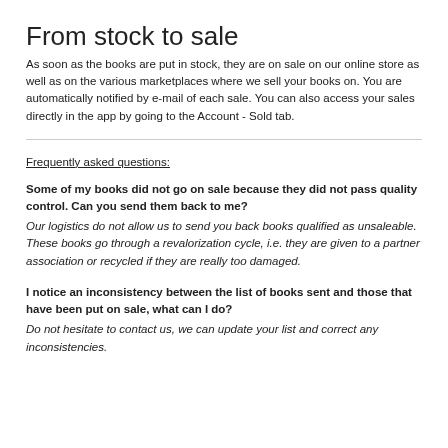From stock to sale
As soon as the books are put in stock, they are on sale on our online store as well as on the various marketplaces where we sell your books on. You are automatically notified by e-mail of each sale. You can also access your sales directly in the app by going to the Account - Sold tab.
Frequently asked questions:
Some of my books did not go on sale because they did not pass quality control. Can you send them back to me?
Our logistics do not allow us to send you back books qualified as unsaleable. These books go through a revalorization cycle, i.e. they are given to a partner association or recycled if they are really too damaged.
I notice an inconsistency between the list of books sent and those that have been put on sale, what can I do?
Do not hesitate to contact us, we can update your list and correct any inconsistencies.